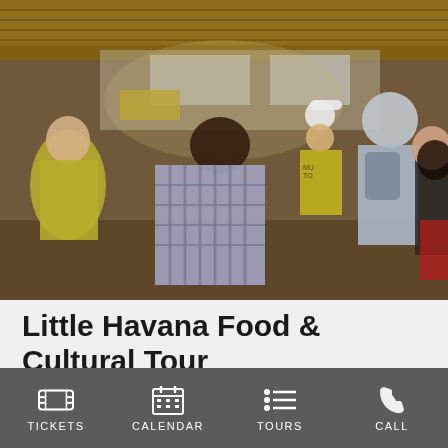[Figure (photo): Group of tourists on a food tour inside a market or restaurant with thatched roof. A tour guide in yellow shirt and white hat is visible in the center. Participants include people with backpacks and casual clothing.]
Little Havana Food & Cultural Tour
Traditional Cuban Food Tastings. A 2.5
TICKETS   CALENDAR   TOURS   CALL